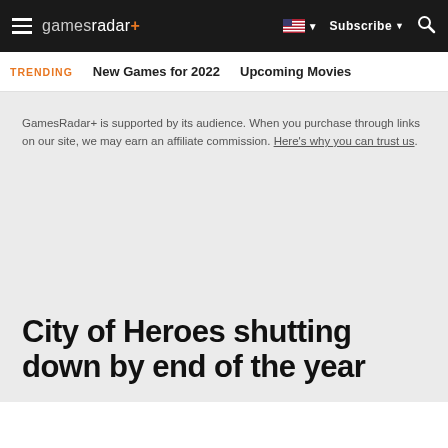gamesradar+ | Subscribe | Search
TRENDING   New Games for 2022   Upcoming Movies
GamesRadar+ is supported by its audience. When you purchase through links on our site, we may earn an affiliate commission. Here's why you can trust us.
City of Heroes shutting down by end of the year